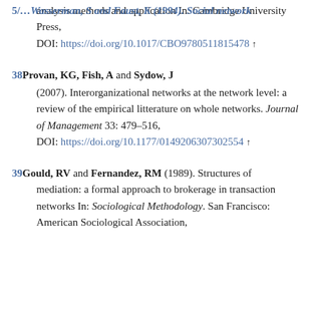37. Wasserman, S and Faust, K (1994). Social network analysis methods and application In: Cambridge University Press, DOI: https://doi.org/10.1017/CBO9780511815478 ↑
38. Provan, KG, Fish, A and Sydow, J (2007). Interorganizational networks at the network level: a review of the empirical litterature on whole networks. Journal of Management 33: 479–516, DOI: https://doi.org/10.1177/0149206307302554 ↑
39. Gould, RV and Fernandez, RM (1989). Structures of mediation: a formal approach to brokerage in transaction networks In: Sociological Methodology. San Francisco: American Sociological Association,